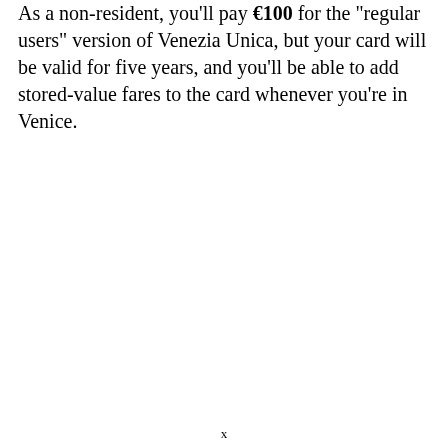As a non-resident, you'll pay €100 for the "regular users" version of Venezia Unica, but your card will be valid for five years, and you'll be able to add stored-value fares to the card whenever you're in Venice.
x